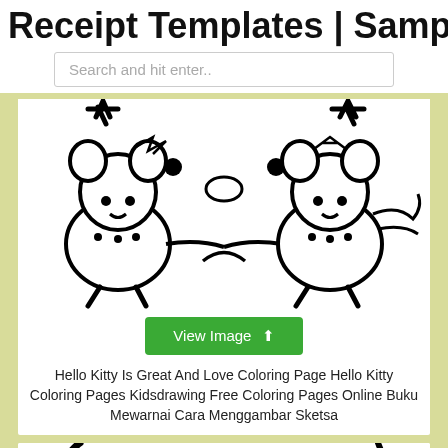Receipt Templates | Samples - PDF
Search and hit enter..
[Figure (illustration): Hand-drawn sketch of two Hello Kitty-like bear characters holding hands with a heart shape between them, black and white line art]
View Image
Hello Kitty Is Great And Love Coloring Page Hello Kitty Coloring Pages Kidsdrawing Free Coloring Pages Online Buku Mewarnai Cara Menggambar Sketsa
[Figure (illustration): Partial view of another hand-drawn sketch, black and white line art, bottom of page]